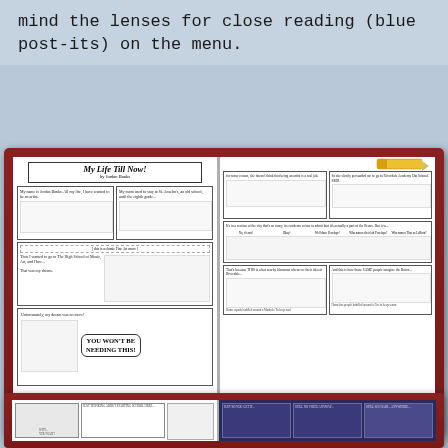mind the lenses for close reading (blue post-its) on the menu.
[Figure (illustration): An open book showing two comic pages. Left page shows 'My Life Till Now by Jordan Banks' with comic panels illustrating a story about wanting to be an artist and applying to schools. Right page continues the comic with panels about neighborhoods, people, and communities. A large crayon image appears at the top right.]
[Figure (illustration): Partial view of another open book at the bottom, showing two comic pages with illustrated panels and speech bubbles, one page with a dark/purple night scene background.]